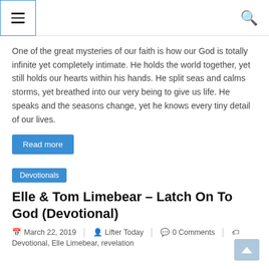Navigation menu and search icons
One of the great mysteries of our faith is how our God is totally infinite yet completely intimate. He holds the world together, yet still holds our hearts within his hands. He split seas and calms storms, yet breathed into our very being to give us life. He speaks and the seasons change, yet he knows every tiny detail of our lives.
Read more
Devotionals
Elle & Tom Limebear – Latch On To God (Devotional)
March 22, 2019   Lifter Today   0 Comments   Devotional, Elle Limebear, revelation